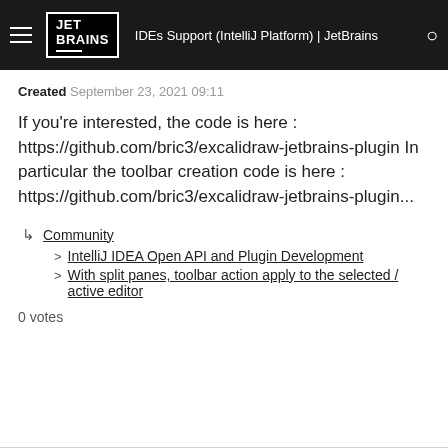IDEs Support (IntelliJ Platform) | JetBrains
Created September 23, 2021 09:11
If you're interested, the code is here : https://github.com/bric3/excalidraw-jetbrains-plugin In particular the toolbar creation code is here : https://github.com/bric3/excalidraw-jetbrains-plugin...
Community
IntelliJ IDEA Open API and Plugin Development
With split panes, toolbar action apply to the selected / active editor
0 votes